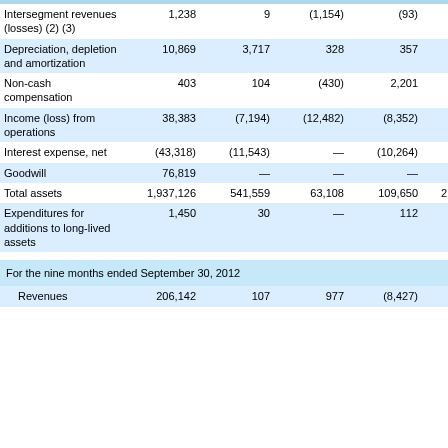|  | Col1 | Col2 | Col3 | Col4 | Total |
| --- | --- | --- | --- | --- | --- |
| Intersegment revenues (losses) (2) (3) | 1,238 | 9 | (1,154) | (93) | — |
| Depreciation, depletion and amortization | 10,869 | 3,717 | 328 | 357 | 15,271 |
| Non-cash compensation | 403 | 104 | (430) | 2,201 | 2,278 |
| Income (loss) from operations | 38,383 | (7,194) | (12,482) | (8,352) | 10,355 |
| Interest expense, net | (43,318) | (11,543) | — | (10,264) | (65,125) |
| Goodwill | 76,819 | — | — | — | 76,819 |
| Total assets | 1,937,126 | 541,559 | 63,108 | 109,650 | 2,651,443 |
| Expenditures for additions to long-lived assets | 1,450 | 30 | — | 112 | 1,592 |
| For the nine months ended September 30, 2012 |  |  |  |  |  |
| Revenues | 206,142 | 107 | 977 | (8,427) | 198,799 |